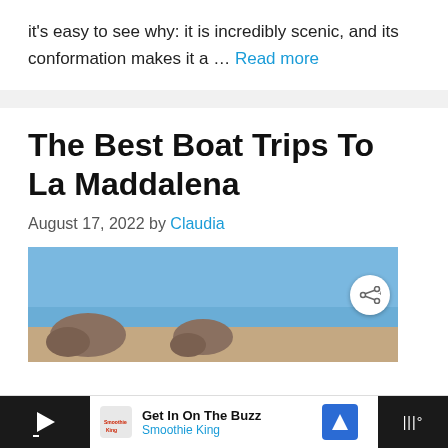it's easy to see why: it is incredibly scenic, and its conformation makes it a … Read more
The Best Boat Trips To La Maddalena
August 17, 2022 by Claudia
[Figure (photo): Scenic coastal photo with blue sky and rocky formations near La Maddalena, with a share button overlay]
Get In On The Buzz Smoothie King